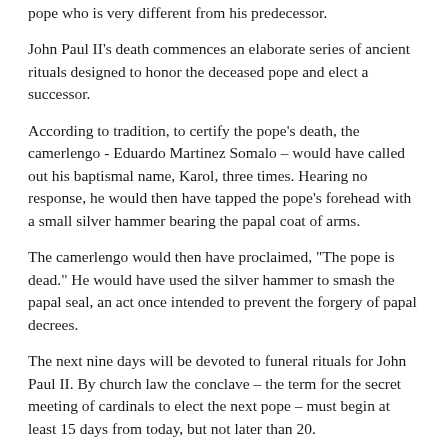pope who is very different from his predecessor.
John Paul II's death commences an elaborate series of ancient rituals designed to honor the deceased pope and elect a successor.
According to tradition, to certify the pope's death, the camerlengo - Eduardo Martinez Somalo – would have called out his baptismal name, Karol, three times. Hearing no response, he would then have tapped the pope's forehead with a small silver hammer bearing the papal coat of arms.
The camerlengo would then have proclaimed, "The pope is dead." He would have used the silver hammer to smash the papal seal, an act once intended to prevent the forgery of papal decrees.
The next nine days will be devoted to funeral rituals for John Paul II. By church law the conclave – the term for the secret meeting of cardinals to elect the next pope – must begin at least 15 days from today, but not later than 20.